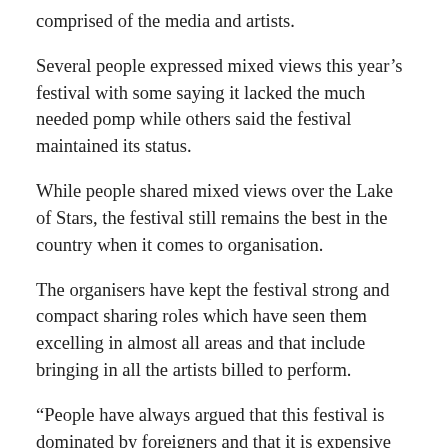comprised of the media and artists.
Several people expressed mixed views this year’s festival with some saying it lacked the much needed pomp while others said the festival maintained its status.
While people shared mixed views over the Lake of Stars, the festival still remains the best in the country when it comes to organisation.
The organisers have kept the festival strong and compact sharing roles which have seen them excelling in almost all areas and that include bringing in all the artists billed to perform.
“People have always argued that this festival is dominated by foreigners and that it is expensive when it comes to entry fee but the efforts they put in organising the event is worth paying more money. To me they have never disappointed, all the artists they